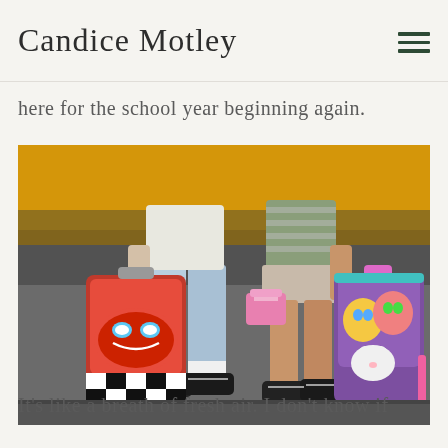Candice Motley
here for the school year beginning again.
[Figure (photo): Two children standing in front of a yellow school bus, holding school backpacks — a boy with a red Lightning McQueen Cars backpack on the left and a girl with a colorful Shimmer and Shine backpack on the right, with a pink lunchbox. Both are wearing black Vans sneakers.]
It's like a breath of fresh air. I don't know if